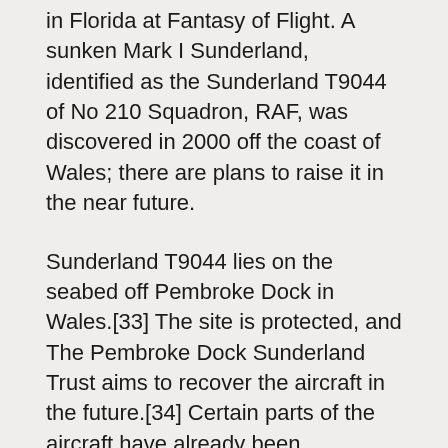in Florida at Fantasy of Flight. A sunken Mark I Sunderland, identified as the Sunderland T9044 of No 210 Squadron, RAF, was discovered in 2000 off the coast of Wales; there are plans to raise it in the near future.
Sunderland T9044 lies on the seabed off Pembroke Dock in Wales.[33] The site is protected, and The Pembroke Dock Sunderland Trust aims to recover the aircraft in the future.[34] Certain parts of the aircraft have already been recovered including two engines and one of the machine guns and are on display at the Pembroke Dock Heritage Centre.[35] The Heritage Centre is located in the restored Georgian Garrison Chapel where it tells not just the story of T9044 but also that of Wales' only Royal Dockyard and over 200 years of social, economic and military history.
General characteristics